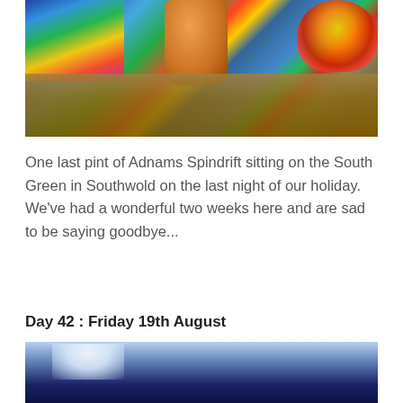[Figure (photo): A pint of Adnams Spindrift beer in an orange/amber glass sitting on dry grass, with colorful crocheted fabric visible at top-left and a ball of yarn at top-right, along with a crochet hook.]
One last pint of Adnams Spindrift sitting on the South Green in Southwold on the last night of our holiday.  We've had a wonderful two weeks here and are sad to be saying goodbye...
Day 42 : Friday 19th August
[Figure (photo): A blue sky scene with bright sunlight/lens flare, dark blue tones at the bottom suggesting the start of another photograph.]